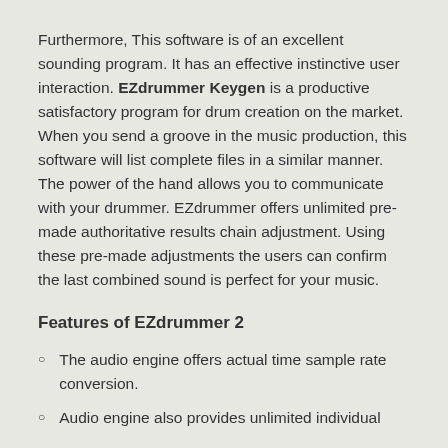Furthermore, This software is of an excellent sounding program. It has an effective instinctive user interaction. EZdrummer Keygen is a productive satisfactory program for drum creation on the market. When you send a groove in the music production, this software will list complete files in a similar manner. The power of the hand allows you to communicate with your drummer. EZdrummer offers unlimited pre-made authoritative results chain adjustment. Using these pre-made adjustments the users can confirm the last combined sound is perfect for your music.
Features of EZdrummer 2
The audio engine offers actual time sample rate conversion.
Audio engine also provides unlimited individual